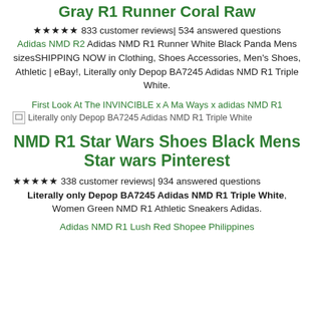Gray R1 Runner Coral Raw
★★★★★ 833 customer reviews| 534 answered questions
Adidas NMD R2 Adidas NMD R1 Runner White Black Panda Mens sizesSHIPPING NOW in Clothing, Shoes Accessories, Men's Shoes, Athletic | eBay!, Literally only Depop BA7245 Adidas NMD R1 Triple White.
First Look At The INVINCIBLE x A Ma Ways x adidas NMD R1
[Figure (other): Broken image placeholder for: Literally only Depop BA7245 Adidas NMD R1 Triple White]
NMD R1 Star Wars Shoes Black Mens Star wars Pinterest
★★★★★ 338 customer reviews| 934 answered questions
Literally only Depop BA7245 Adidas NMD R1 Triple White, Women Green NMD R1 Athletic Sneakers Adidas.
Adidas NMD R1 Lush Red Shopee Philippines